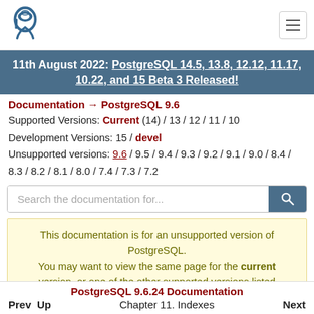PostgreSQL logo and navigation hamburger menu
11th August 2022: PostgreSQL 14.5, 13.8, 12.12, 11.17, 10.22, and 15 Beta 3 Released!
Documentation → PostgreSQL 9.6
Supported Versions: Current (14) / 13 / 12 / 11 / 10
Development Versions: 15 / devel
Unsupported versions: 9.6 / 9.5 / 9.4 / 9.3 / 9.2 / 9.1 / 9.0 / 8.4 / 8.3 / 8.2 / 8.1 / 8.0 / 7.4 / 7.3 / 7.2
Search the documentation for...
This documentation is for an unsupported version of PostgreSQL. You may want to view the same page for the current version, or one of the other supported versions listed above instead.
PostgreSQL 9.6.24 Documentation
Prev  Up  Chapter 11. Indexes  Next